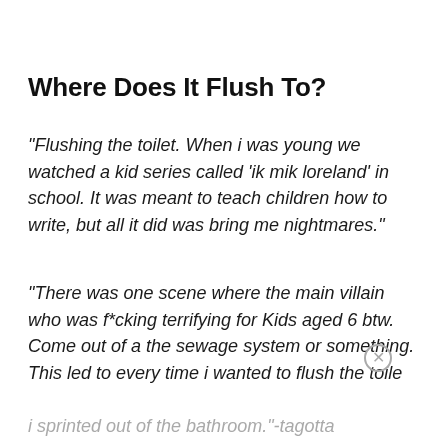Where Does It Flush To?
"Flushing the toilet. When i was young we watched a kid series called 'ik mik loreland' in school. It was meant to teach children how to write, but all it did was bring me nightmares."
"There was one scene where the main villain who was f*cking terrifying for Kids aged 6 btw. Come out of a the sewage system or something. This led to every time i wanted to flush the toilet i sprinted out of the bathroom."-tagotta